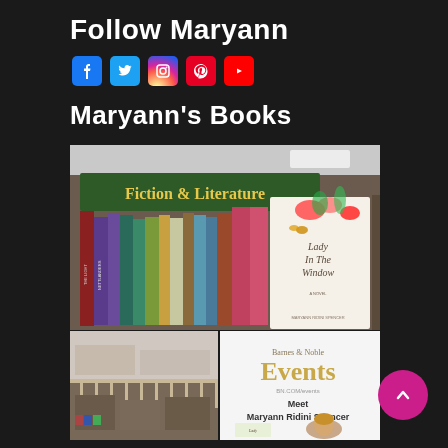Follow Maryann
[Figure (infographic): Social media icons: Facebook (blue), Twitter (light blue), Instagram (gradient), Pinterest (red), YouTube (red)]
Maryann's Books
[Figure (photo): Collage of two bookstore photos. Top: Barnes & Noble Fiction & Literature section showing various books including 'Lady In The Window' by Maryann Ridini Spencer prominently displayed face-out. Bottom left: interior of Barnes & Noble store balcony view. Bottom right: Barnes & Noble Events sign reading 'Meet Maryann Ridini Spencer' with a photo of a woman.]